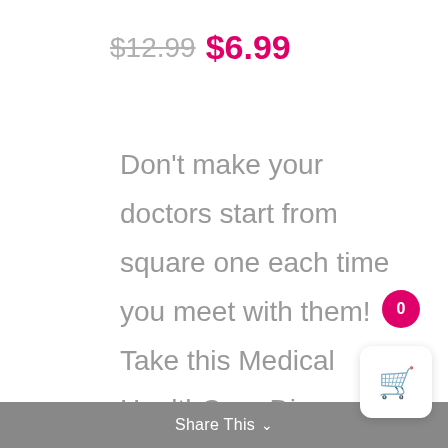$12.99 $6.99
Don't make your doctors start from square one each time you meet with them! Take this Medical HealthCare Diary healthcare organizer with you to all appointments to ensure all of your physicians are on the same page with your medications, allergies,